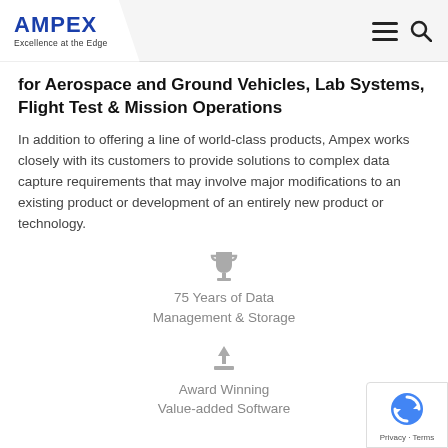AMPEX Excellence at the Edge
for Aerospace and Ground Vehicles, Lab Systems, Flight Test & Mission Operations
In addition to offering a line of world-class products, Ampex works closely with its customers to provide solutions to complex data capture requirements that may involve major modifications to an existing product or development of an entirely new product or technology.
[Figure (illustration): Trophy/award cup icon in grey]
75 Years of Data Management & Storage
[Figure (illustration): Download/award icon in grey]
Award Winning Value-added Software
[Figure (illustration): reCAPTCHA privacy badge with spinning arrows icon, Privacy - Terms text]